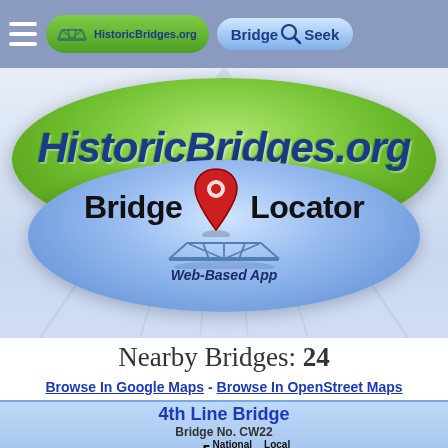HistoricBridges.org | Bridge Seek
[Figure (logo): HistoricBridges.org Bridge Locator logo: green outer ellipse with site name, blue inner ellipse with 'Bridge Locator' text, red map pin, bridge truss icon, and 'Web-Based App' subtitle]
Nearby Bridges: 24
Browse In Google Maps - Browse In OpenStreet Maps
4th Line Bridge
Bridge No. CW22
Rating [ National 4  Local 3